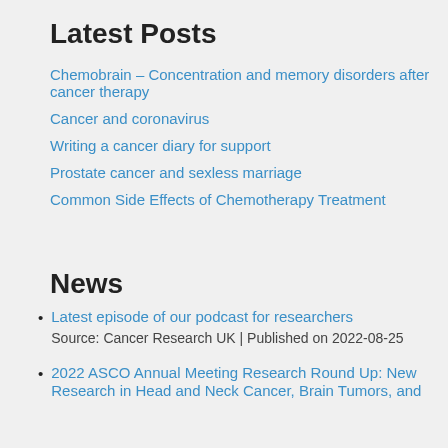Latest Posts
Chemobrain – Concentration and memory disorders after cancer therapy
Cancer and coronavirus
Writing a cancer diary for support
Prostate cancer and sexless marriage
Common Side Effects of Chemotherapy Treatment
News
Latest episode of our podcast for researchers
Source: Cancer Research UK | Published on 2022-08-25
2022 ASCO Annual Meeting Research Round Up: New Research in Head and Neck Cancer, Brain Tumors, and